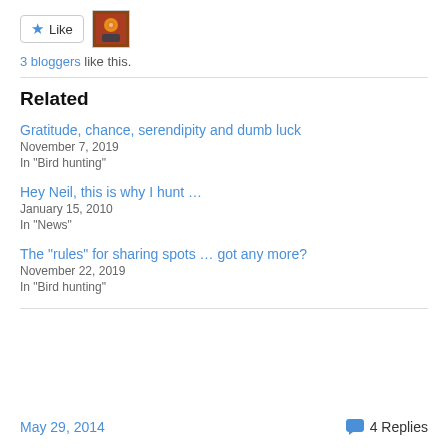3 bloggers like this.
Related
Gratitude, chance, serendipity and dumb luck
November 7, 2019
In "Bird hunting"
Hey Neil, this is why I hunt …
January 15, 2010
In "News"
The “rules” for sharing spots … got any more?
November 22, 2019
In "Bird hunting"
May 29, 2014    4 Replies